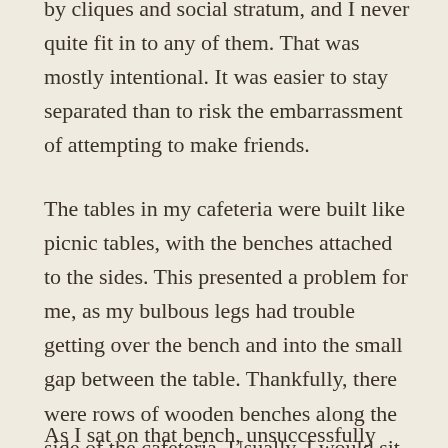by cliques and social stratum, and I never quite fit in to any of them. That was mostly intentional. It was easier to stay separated than to risk the embarrassment of attempting to make friends.
The tables in my cafeteria were built like picnic tables, with the benches attached to the sides. This presented a problem for me, as my bulbous legs had trouble getting over the bench and into the small gap between the table. Thankfully, there were rows of wooden benches along the side of the cafeteria. Usually, I would sit there and keep my head down as I tried to eat as inconspicuously as possible. It rarely worked, as I once again became a sideshow attraction for the student body.
As I sat on that bench, unsuccessfully